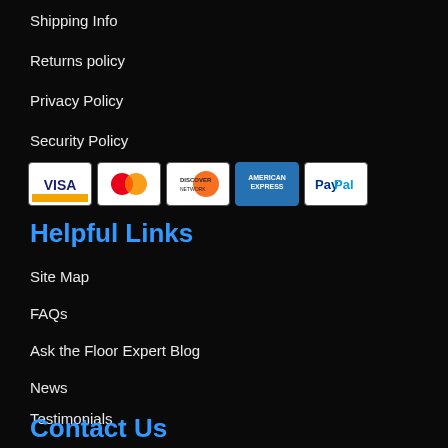Shipping Info
Returns policy
Privacy Policy
Security Policy
[Figure (other): Payment method icons: Visa, MasterCard, Discover, American Express, PayPal]
Helpful Links
Site Map
FAQs
Ask the Floor Expert Blog
News
Testimonials
Contact Us